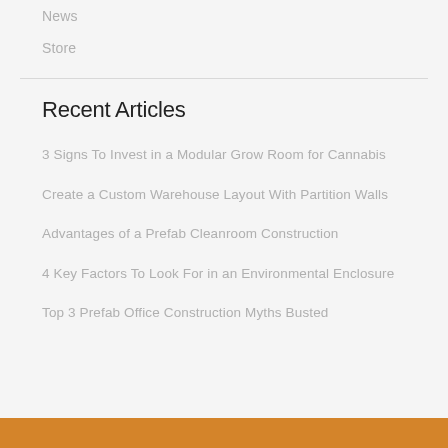News
Store
Recent Articles
3 Signs To Invest in a Modular Grow Room for Cannabis
Create a Custom Warehouse Layout With Partition Walls
Advantages of a Prefab Cleanroom Construction
4 Key Factors To Look For in an Environmental Enclosure
Top 3 Prefab Office Construction Myths Busted